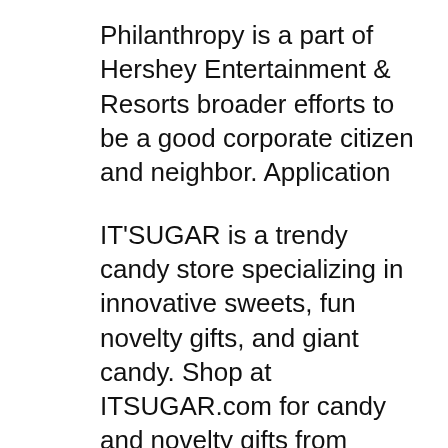Philanthropy is a part of Hershey Entertainment & Resorts broader efforts to be a good corporate citizen and neighbor. Application
IT'SUGAR is a trendy candy store specializing in innovative sweets, fun novelty gifts, and giant candy. Shop at ITSUGAR.com for candy and novelty gifts from Hershey It's time to experience Hershey's Chocolate World. Plan your chocolate adventure today and find out why Hershey is known as the sweetest place on Earth!
486 reviews from The Hershey Company employees about The Hershey Company culture, salaries,